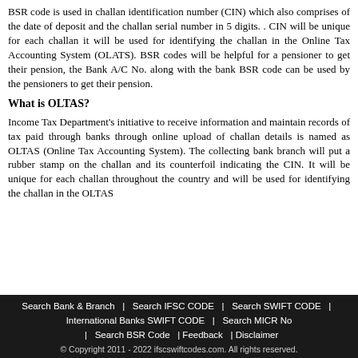BSR code is used in challan identification number (CIN) which also comprises of the date of deposit and the challan serial number in 5 digits. . CIN will be unique for each challan it will be used for identifying the challan in the Online Tax Accounting System (OLATS). BSR codes will be helpful for a pensioner to get their pension, the Bank A/C No. along with the bank BSR code can be used by the pensioners to get their pension.
What is OLTAS?
Income Tax Department's initiative to receive information and maintain records of tax paid through banks through online upload of challan details is named as OLTAS (Online Tax Accounting System). The collecting bank branch will put a rubber stamp on the challan and its counterfoil indicating the CIN. It will be unique for each challan throughout the country and will be used for identifying the challan in the OLTAS
Search Bank & Branch  |  Search IFSC CODE  |  Search SWIFT CODE  |  International Banks SWIFT CODE  |  Search MICR No  |  Search BSR Code  | Feedback  | Disclaimer
© Copyright 2011 - 2022 ifscswiftcodes.com. All rights reserved.